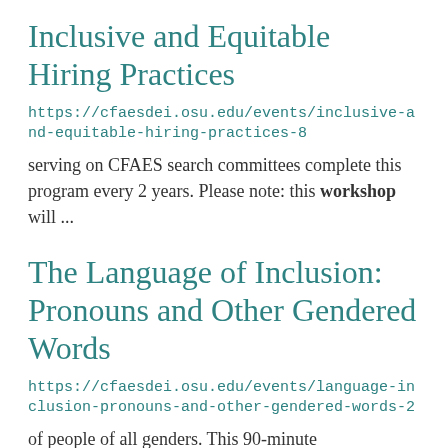Inclusive and Equitable Hiring Practices
https://cfaesdei.osu.edu/events/inclusive-and-equitable-hiring-practices-8
serving on CFAES search committees complete this program every 2 years. Please note: this workshop will ...
The Language of Inclusion: Pronouns and Other Gendered Words
https://cfaesdei.osu.edu/events/language-inclusion-pronouns-and-other-gendered-words-2
of people of all genders. This 90-minute